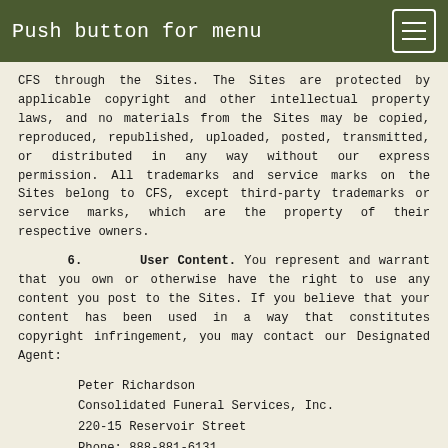Push button for menu
CFS through the Sites. The Sites are protected by applicable copyright and other intellectual property laws, and no materials from the Sites may be copied, reproduced, republished, uploaded, posted, transmitted, or distributed in any way without our express permission. All trademarks and service marks on the Sites belong to CFS, except third-party trademarks or service marks, which are the property of their respective owners.
6. User Content. You represent and warrant that you own or otherwise have the right to use any content you post to the Sites. If you believe that your content has been used in a way that constitutes copyright infringement, you may contact our Designated Agent:
Peter Richardson
Consolidated Funeral Services, Inc.
220-15 Reservoir Street
Phone: 888-881-6131
Fax: 617-849-5459
Email: dcma@consolidatedfuneralservices.com